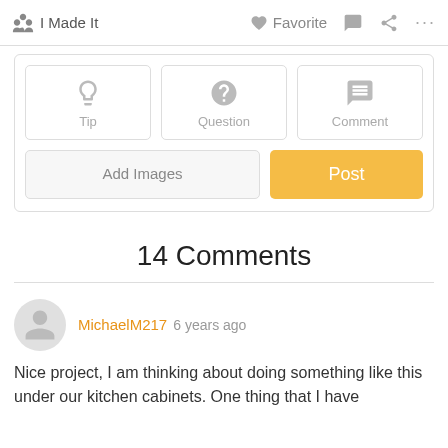I Made It   Favorite   ... ... ...
[Figure (screenshot): Three icon buttons: Tip (lightbulb icon), Question (question mark icon), Comment (speech bubble icon)]
[Figure (screenshot): Add Images button and Post button (yellow)]
14 Comments
MichaelM217  6 years ago
Nice project, I am thinking about doing something like this under our kitchen cabinets. One thing that I have